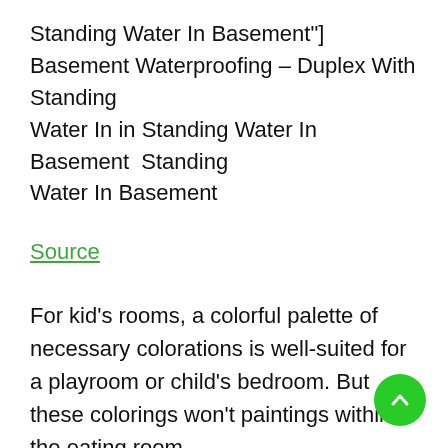Standing Water In Basement"] Basement Waterproofing – Duplex With Standing Water In in Standing Water In Basement  Standing Water In Basement
Source
For kid's rooms, a colorful palette of necessary colorations is well-suited for a playroom or child's bedroom. But these colorings won't paintings within the eating room.
One factor which you've got to remember when designing a room of their house is to create a mood. Think about that categorical mood and how on if you are deciding which items ought to be